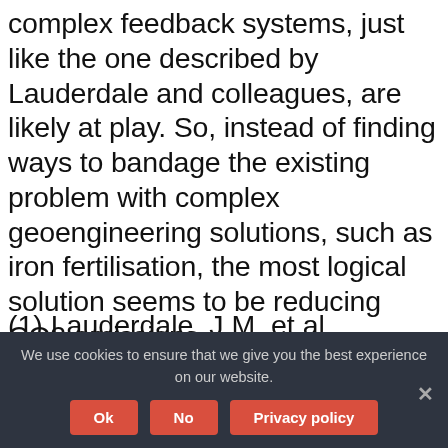complex feedback systems, just like the one described by Lauderdale and colleagues, are likely at play. So, instead of finding ways to bandage the existing problem with complex geoengineering solutions, such as iron fertilisation, the most logical solution seems to be reducing CO2 emissions.
(1) Lauderdale, J.M. et al. Microbial feedbacks optimize ocean iron availability. Proceedings of the National Academy of Sciences (2020). DOI: 10.1073/pnas.1917277117
We use cookies to ensure that we give you the best experience on our website.